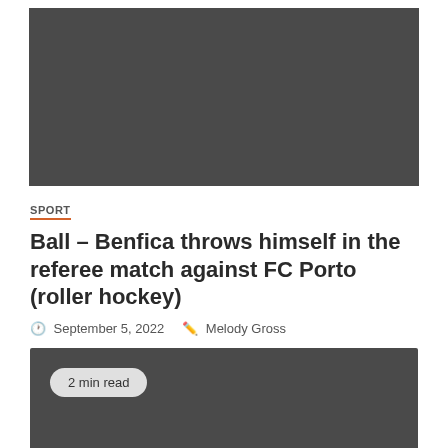[Figure (photo): Dark grey image placeholder at top of article page]
SPORT
Ball – Benfica throws himself in the referee match against FC Porto (roller hockey)
September 5, 2022   Melody Gross
[Figure (photo): Dark grey image placeholder for article content with '2 min read' badge overlay]